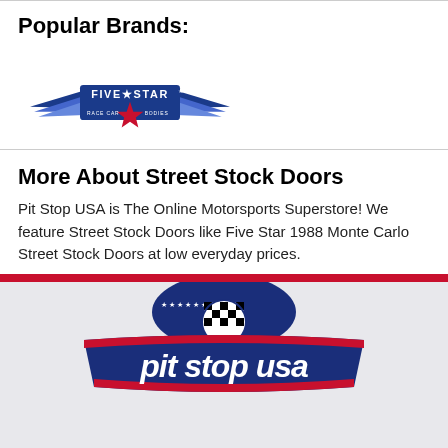Popular Brands:
[Figure (logo): Five Star Race Car Bodies logo with wings and red star]
More About Street Stock Doors
Pit Stop USA is The Online Motorsports Superstore! We feature Street Stock Doors like Five Star 1988 Monte Carlo Street Stock Doors at low everyday prices.
[Figure (logo): Pit Stop USA logo with checkered flag and red/blue/white design]